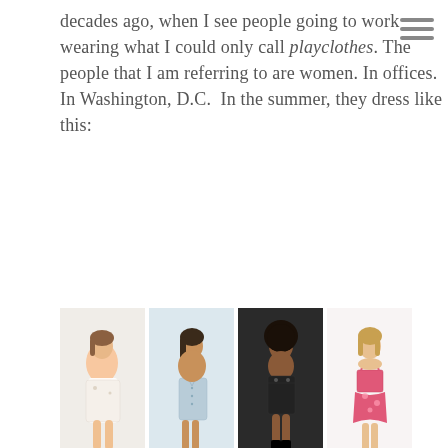decades ago, when I see people going to work wearing what I could only call playclothes. The people that I am referring to are women. In offices. In Washington, D.C.  In the summer, they dress like this:
[Figure (photo): Collage of six women wearing casual summer dresses and outfits, displayed in two rows: top row has four smaller images showing women in various short dresses (floral white, light denim shirt dress, dark floral mini dress, pink floral dress); bottom row has two larger images showing a woman in a patterned tank top/romper and a woman in a blue floral skirt dress.]